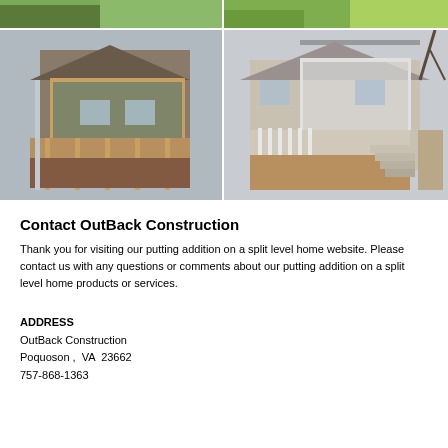[Figure (photo): Four construction/home addition photos arranged in a 2x2 grid showing decks and screened porches on split-level homes]
Contact OutBack Construction
Thank you for visiting our putting addition on a split level home website. Please contact us with any questions or comments about our putting addition on a split level home products or services.
ADDRESS
OutBack Construction
Poquoson ,  VA  23662
757-868-1363